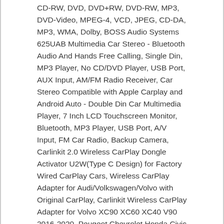CD-RW, DVD, DVD+RW, DVD-RW, MP3, DVD-Video, MPEG-4, VCD, JPEG, CD-DA, MP3, WMA, Dolby, BOSS Audio Systems 625UAB Multimedia Car Stereo - Bluetooth Audio And Hands Free Calling, Single Din, MP3 Player, No CD/DVD Player, USB Port, AUX Input, AM/FM Radio Receiver, Car Stereo Compatible with Apple Carplay and Android Auto - Double Din Car Multimedia Player, 7 Inch LCD Touchscreen Monitor, Bluetooth, MP3 Player, USB Port, A/V Input, FM Car Radio, Backup Camera, Carlinkit 2.0 Wireless CarPlay Dongle Activator U2W(Type C Design) for Factory Wired CarPlay Cars, Wireless CarPlay Adapter for Audi/Volkswagen/Volvo with Original CarPlay, Carlinkit Wireless CarPlay Adapter for Volvo XC90 XC60 XC40 V90 2016-2020, Peugeot Chevrolet Honda Civic CR-V 2016-2019, Mazda CX-5 Artz 2017-2020, Hyundai, Convert Factory Wired CarPlay to Wireless, Carlinkit 2.0 Wireless CarPlay Adapter (for